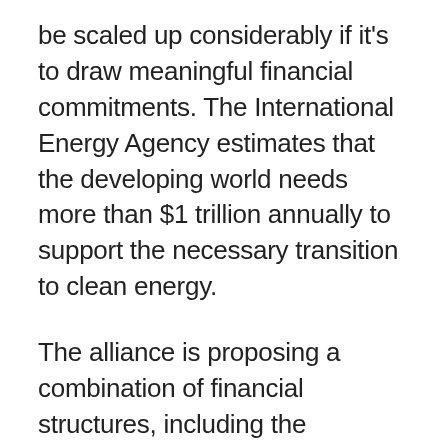be scaled up considerably if it's to draw meaningful financial commitments. The International Energy Agency estimates that the developing world needs more than $1 trillion annually to support the necessary transition to clean energy.
The alliance is proposing a combination of financial structures, including the securitization of junk debt into tranches, whereby private investors are protected from initial losses. Such a model would represent a significant enticement for investors in regions characterized by very